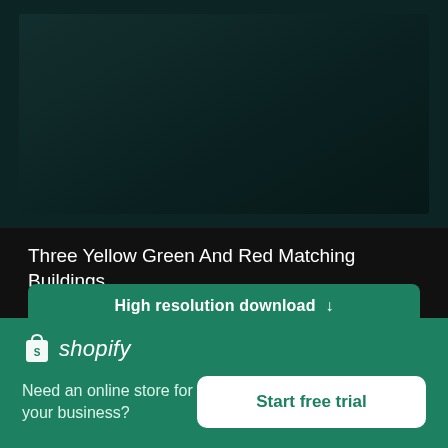[Figure (photo): Dark teal/dark background image at the top of the page, partially cropped architectural photo]
Three Yellow Green And Red Matching Buildings
High resolution download ↓
[Figure (photo): Blurred close-up photo of what appears to be a sandy or skin-toned surface with a white/light area in upper right corner]
[Figure (logo): Shopify logo with bag icon and italic shopify wordmark on green background banner]
Need an online store for your business?
Start free trial